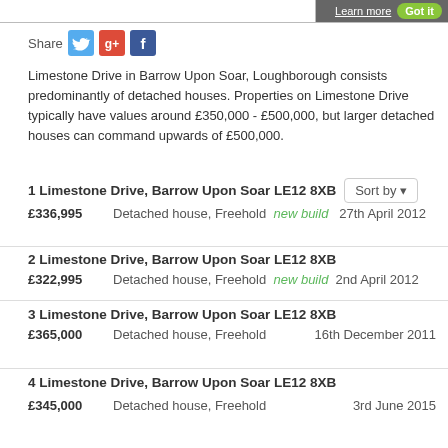Learn more  Got it
Share [Twitter] [Google+] [Facebook]
Limestone Drive in Barrow Upon Soar, Loughborough consists predominantly of detached houses. Properties on Limestone Drive typically have values around £350,000 - £500,000, but larger detached houses can command upwards of £500,000.
1 Limestone Drive, Barrow Upon Soar LE12 8XB
£336,995  Detached house, Freehold  new build  27th April 2012
2 Limestone Drive, Barrow Upon Soar LE12 8XB
£322,995  Detached house, Freehold  new build  2nd April 2012
3 Limestone Drive, Barrow Upon Soar LE12 8XB
£365,000  Detached house, Freehold  16th December 2011
4 Limestone Drive, Barrow Upon Soar LE12 8XB
£345,000  Detached house, Freehold  3rd June 2015